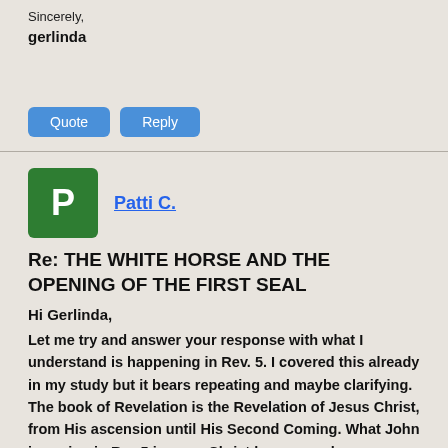Sincerely,
gerlinda
[Figure (other): Quote and Reply buttons (blue rounded buttons)]
Patti C.
Re: THE WHITE HORSE AND THE OPENING OF THE FIRST SEAL
Hi Gerlinda,
Let me try and answer your response with what I understand is happening in Rev. 5. I covered this already in my study but it bears repeating and maybe clarifying. The book of Revelation is the Revelation of Jesus Christ, from His ascension until His Second Coming. What John is seeing in Rev.5 is a pre-Christ heaven, or heaven before Christ ascended. Why also